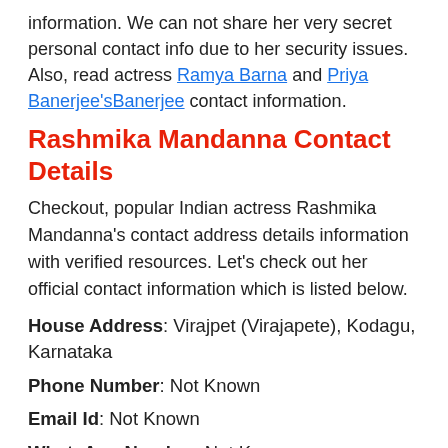information. We can not share her very secret personal contact info due to her security issues. Also, read actress Ramya Barna and Priya Banerjee'sBanerjee contact information.
Rashmika Mandanna Contact Details
Checkout, popular Indian actress Rashmika Mandanna's contact address details information with verified resources. Let's check out her official contact information which is listed below.
House Address: Virajpet (Virajapete), Kodagu, Karnataka
Phone Number: Not Known
Email Id: Not Known
WhatsApp Number: Not Known
Residence Address: Virajpet (Virajapete), Kodagu, Karnataka